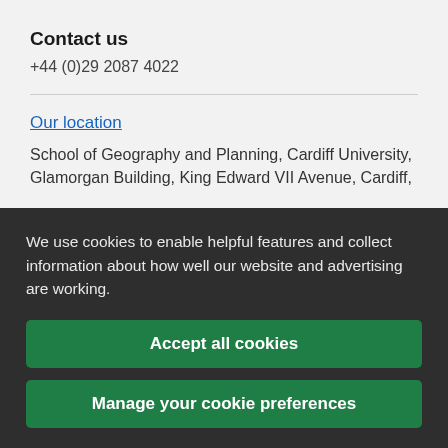Contact us
+44 (0)29 2087 4022
Our location
School of Geography and Planning, Cardiff University, Glamorgan Building, King Edward VII Avenue, Cardiff,
We use cookies to enable helpful features and collect information about how well our website and advertising are working.
Accept all cookies
Manage your cookie preferences